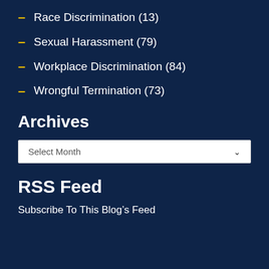Race Discrimination (13)
Sexual Harassment (79)
Workplace Discrimination (84)
Wrongful Termination (73)
Archives
Select Month
RSS Feed
Subscribe To This Blog's Feed